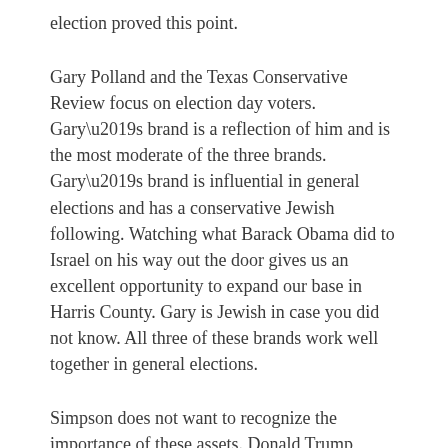election proved this point.
Gary Polland and the Texas Conservative Review focus on election day voters. Gary’s brand is a reflection of him and is the most moderate of the three brands. Gary’s brand is influential in general elections and has a conservative Jewish following. Watching what Barack Obama did to Israel on his way out the door gives us an excellent opportunity to expand our base in Harris County. Gary is Jewish in case you did not know. All three of these brands work well together in general elections.
Simpson does not want to recognize the importance of these assets. Donald Trump certainly knew that he needed social conservatives to win the Presidency just as Simpson needs social conservatives to win Harris County. I have asked